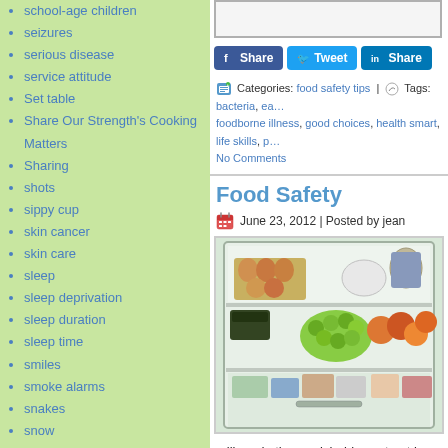school-age children
seizures
serious disease
service attitude
Set table
Share Our Strength's Cooking Matters
Sharing
shots
sippy cup
skin cancer
skin care
sleep
sleep deprivation
sleep duration
sleep time
smiles
smoke alarms
snakes
snow
sodas
sodium
sodium intake
sports
sports safety
[Figure (other): Top image placeholder (partial, white box with border)]
[Figure (other): Share buttons: Facebook Share, Twitter Tweet, LinkedIn Share]
Categories: food safety tips | Tags: bacteria, ea... foodborne illness, good choices, health smart, life skills, p... No Comments
Food Safety
June 23, 2012 | Posted by jean
[Figure (photo): Photo of an open refrigerator showing multiple shelves with food items including eggs, grapes, fruits, vegetables, and other perishables.]
milk and other perishables sat out in the units in the supermarket.